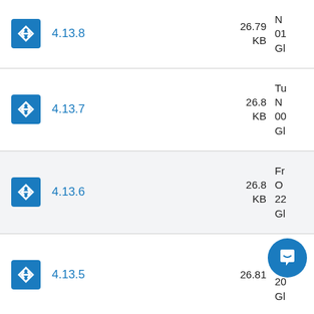4.13.8 — 26.79 KB
4.13.7 — 26.8 KB
4.13.6 — 26.8 KB
4.13.5 — 26.81